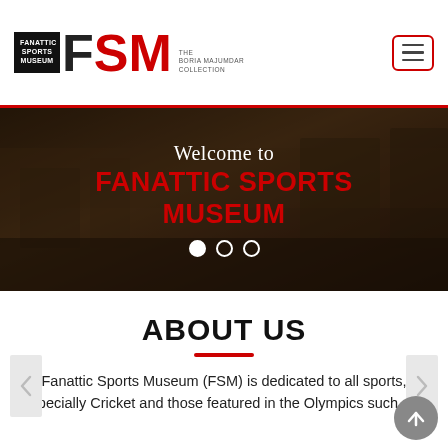[Figure (logo): Fanattic Sports Museum logo with FSM text in black and red, hamburger menu icon on the right]
[Figure (photo): Hero banner with blurred museum interior background, text 'Welcome to FANATTIC SPORTS MUSEUM' overlaid, with carousel dots below]
ABOUT US
Fanattic Sports Museum (FSM) is dedicated to all sports, specially Cricket and those featured in the Olympics such as